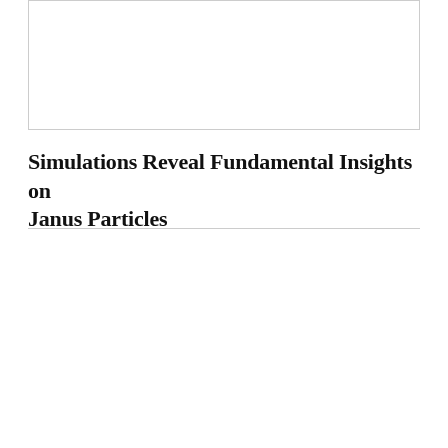[Figure (other): White rectangular image placeholder box with border]
Simulations Reveal Fundamental Insights on Janus Particles